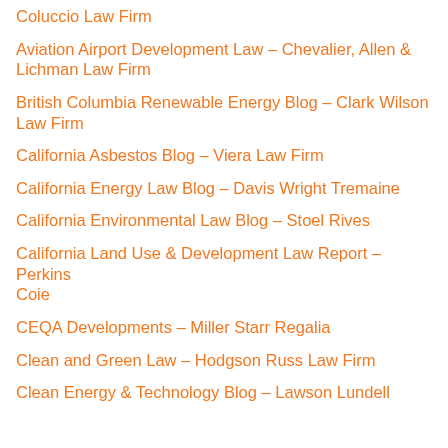Coluccio Law Firm
Aviation Airport Development Law – Chevalier, Allen & Lichman Law Firm
British Columbia Renewable Energy Blog – Clark Wilson Law Firm
California Asbestos Blog – Viera Law Firm
California Energy Law Blog – Davis Wright Tremaine
California Environmental Law Blog – Stoel Rives
California Land Use & Development Law Report – Perkins Coie
CEQA Developments – Miller Starr Regalia
Clean and Green Law – Hodgson Russ Law Firm
Clean Energy & Technology Blog – Lawson Lundell